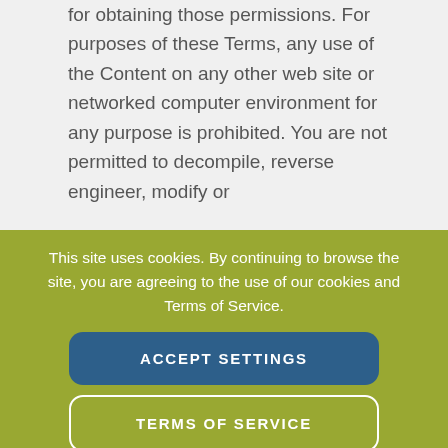for obtaining those permissions. For purposes of these Terms, any use of the Content on any other web site or networked computer environment for any purpose is prohibited. You are not permitted to decompile, reverse engineer, modify or
This site uses cookies. By continuing to browse the site, you are agreeing to the use of our cookies and Terms of Service.
ACCEPT SETTINGS
TERMS OF SERVICE